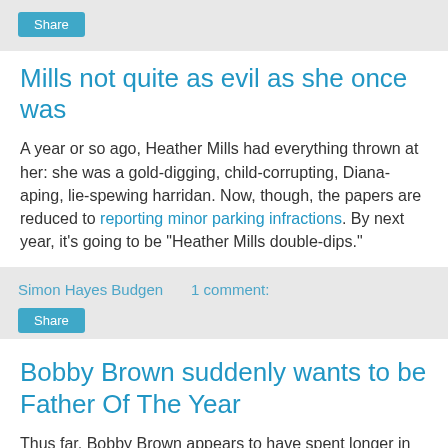Share
Mills not quite as evil as she once was
A year or so ago, Heather Mills had everything thrown at her: she was a gold-digging, child-corrupting, Diana-aping, lie-spewing harridan. Now, though, the papers are reduced to reporting minor parking infractions. By next year, it's going to be "Heather Mills double-dips."
Simon Hayes Budgen    1 comment:
Share
Bobby Brown suddenly wants to be Father Of The Year
Thus far, Bobby Brown appears to have spent longer in